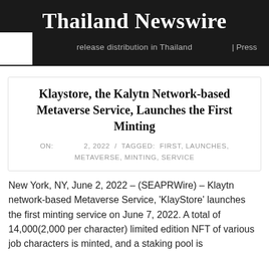Thailand Newswire | Press release distribution in Thailand
Klaystore, the Kalytn Network-based Metaverse Service, Launches the First Minting
ON: 2, 2022 / TAGGED: FIRST, LAUNCHES, METAVERSE, MINTING, SERVICE
New York, NY, June 2, 2022 – (SEAPRWire) – Klaytn network-based Metaverse Service, 'KlayStore' launches the first minting service on June 7, 2022. A total of 14,000(2,000 per character) limited edition NFT of various job characters is minted, and a staking pool is